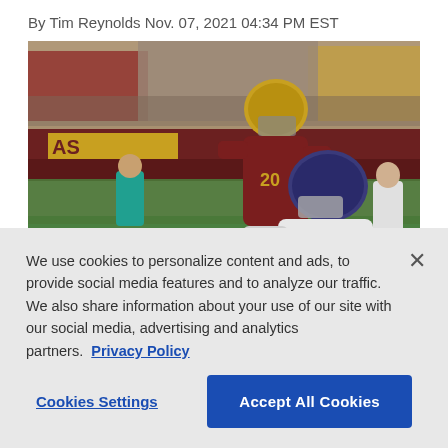By Tim Reynolds Nov. 07, 2021 04:34 PM EST
[Figure (photo): NFL game action photo showing a Baltimore Ravens player in white and purple uniform catching or carrying a football, being tackled by a Washington Football Team player in burgundy and gold uniform. A stadium crowd is visible in the background along with other players and sideline staff.]
We use cookies to personalize content and ads, to provide social media features and to analyze our traffic. We also share information about your use of our site with our social media, advertising and analytics partners.  Privacy Policy
Cookies Settings
Accept All Cookies